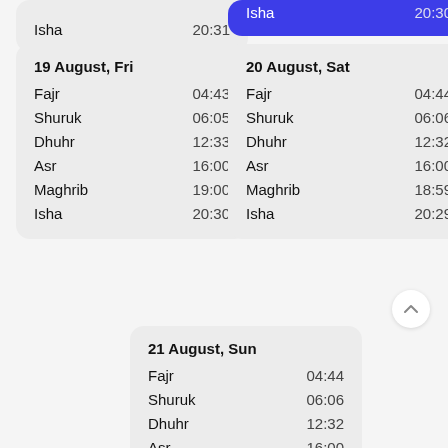| Prayer | Time |
| --- | --- |
| Isha | 20:31 |
| Prayer | Time |
| --- | --- |
| Isha | 20:30 |
| Prayer | Time |
| --- | --- |
| 19 August, Fri |  |
| Fajr | 04:43 |
| Shuruk | 06:05 |
| Dhuhr | 12:33 |
| Asr | 16:00 |
| Maghrib | 19:00 |
| Isha | 20:30 |
| Prayer | Time |
| --- | --- |
| 20 August, Sat |  |
| Fajr | 04:44 |
| Shuruk | 06:06 |
| Dhuhr | 12:32 |
| Asr | 16:00 |
| Maghrib | 18:59 |
| Isha | 20:29 |
| Prayer | Time |
| --- | --- |
| 21 August, Sun |  |
| Fajr | 04:44 |
| Shuruk | 06:06 |
| Dhuhr | 12:32 |
| Asr | 16:00 |